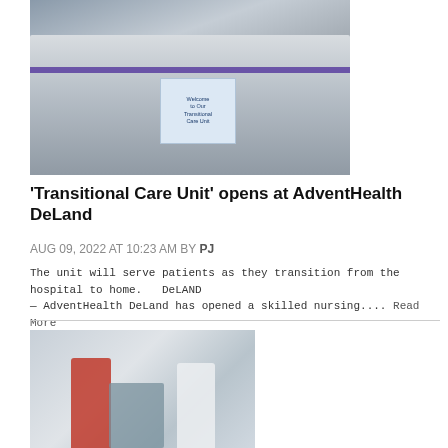[Figure (photo): Group of people wearing masks gathered indoors for a ribbon-cutting ceremony at AdventHealth DeLand Transitional Care Unit. A purple ribbon is visible and someone holds a sign reading 'Welcome to Our Transitional Care Unit'.]
'Transitional Care Unit' opens at AdventHealth DeLand
AUG 09, 2022 AT 10:23 AM BY PJ
The unit will serve patients as they transition from the hospital to home.   DeLAND — AdventHealth DeLand has opened a skilled nursing.... Read More
[Figure (photo): Two people wearing masks standing outdoors near a cart with boxes.]